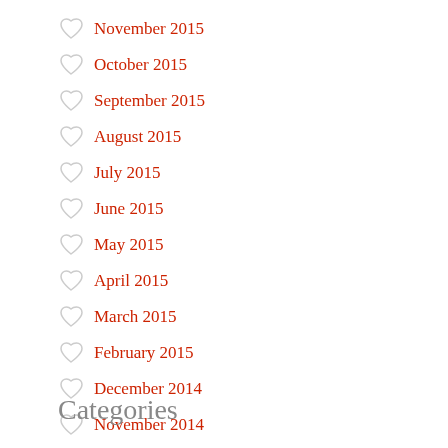November 2015
October 2015
September 2015
August 2015
July 2015
June 2015
May 2015
April 2015
March 2015
February 2015
December 2014
November 2014
Categories